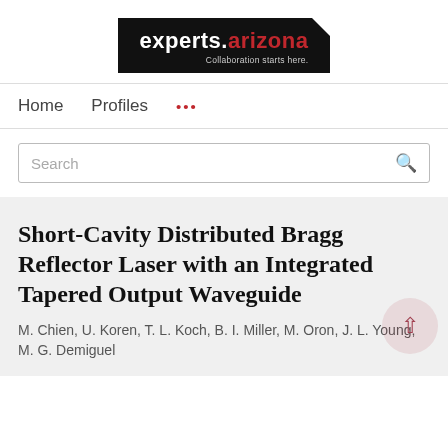[Figure (logo): experts.arizona logo — black background, white bold text 'experts.' followed by red '.arizona', subtitle 'Collaboration starts here.']
Home   Profiles   ...
Search
Short-Cavity Distributed Bragg Reflector Laser with an Integrated Tapered Output Waveguide
M. Chien, U. Koren, T. L. Koch, B. I. Miller, M. Oron, J. L. Young, M. G. Demiguel